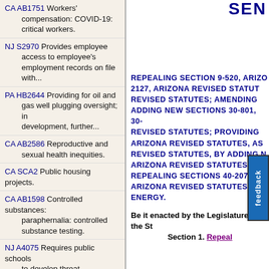CA AB1751 Workers' compensation: COVID-19: critical workers.
NJ S2970 Provides employee access to employee's employment records on file with...
PA HB2644 Providing for oil and gas well plugging oversight; in development, further...
CA AB2586 Reproductive and sexual health inequities.
CA SCA2 Public housing projects.
CA AB1598 Controlled substances: paraphernalia: controlled substance testing.
NJ A4075 Requires public schools to develop threat assessment teams.
CA AB2418 Crimes: Justice Data Accountability and Transparency Act.
CA AB1714 Excluded employees:
SEN
REPEALING SECTION 9-520, ARIZONA REVISED STATUTES; AMENDING SECTION 2127, ARIZONA REVISED STATUTES; AMENDING ARIZONA REVISED STATUTES; AMENDING ADDING NEW SECTIONS 30-801, 30- ARIZONA REVISED STATUTES; PROVIDING ARIZONA REVISED STATUTES, AS ARIZONA REVISED STATUTES, BY ADDING N ARIZONA REVISED STATUTES; AR REPEALING SECTIONS 40-207 AN ARIZONA REVISED STATUTES; RE ENERGY.
Be it enacted by the Legislature of the St
Section 1. Repeal